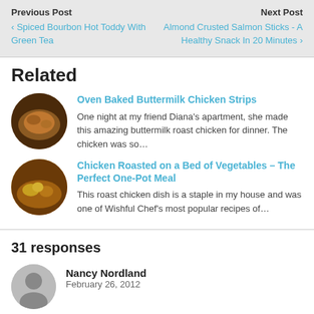Previous Post
‹ Spiced Bourbon Hot Toddy With Green Tea
Next Post
Almond Crusted Salmon Sticks - A Healthy Snack In 20 Minutes ›
Related
Oven Baked Buttermilk Chicken Strips
One night at my friend Diana's apartment, she made this amazing buttermilk roast chicken for dinner. The chicken was so…
Chicken Roasted on a Bed of Vegetables – The Perfect One-Pot Meal
This roast chicken dish is a staple in my house and was one of Wishful Chef's most popular recipes of…
31 responses
Nancy Nordland
February 26, 2012